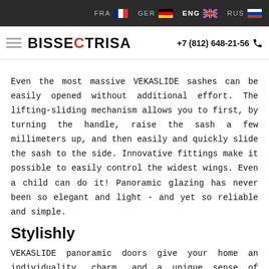FRA  GER  ENG  RUS
[Figure (logo): Bissectrisa logo with hamburger menu and phone number +7 (812) 648-21-56]
Even the most massive VEKASLIDE sashes can be easily opened without additional effort. The lifting-sliding mechanism allows you to first, by turning the handle, raise the sash a few millimeters up, and then easily and quickly slide the sash to the side. Innovative fittings make it possible to easily control the widest wings. Even a child can do it! Panoramic glazing has never been so elegant and light - and yet so reliable and simple.
Stylishly
VEKASLIDE panoramic doors give your home an individuality, charm, and a unique sense of style. Sliding doors are especially popular in the design and construction of private homes, the owners of which do not want to stay within the